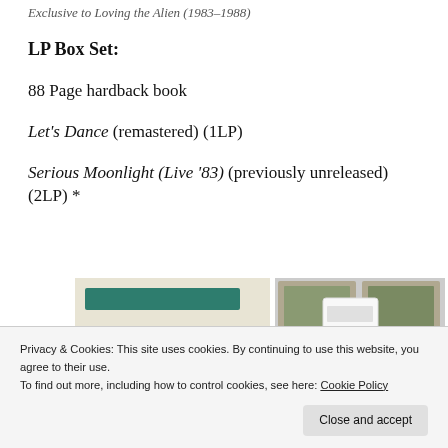Exclusive to Loving the Alien (1983–1988)
LP Box Set:
88 Page hardback book
Let's Dance (remastered) (1LP)
Serious Moonlight (Live '83) (previously unreleased) (2LP) *
[Figure (screenshot): Partial screenshot of a website showing a food/recipe page with a dark green header bar and food images on the right side.]
Privacy & Cookies: This site uses cookies. By continuing to use this website, you agree to their use.
To find out more, including how to control cookies, see here: Cookie Policy
Close and accept